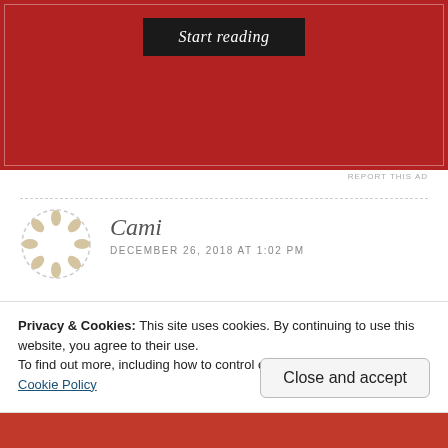[Figure (screenshot): Red advertisement banner with dark 'Start reading' button and white border outline]
REPORT THIS AD
Cami
DECEMBER 26, 2018 AT 1:02 PM
Where are the source(s) that say putting EO on the bottom of your feet are ineffective? I have read the opposite, that is why I am curious 🙂
Privacy & Cookies: This site uses cookies. By continuing to use this website, you agree to their use.
To find out more, including how to control cookies, see here:
Cookie Policy
Close and accept